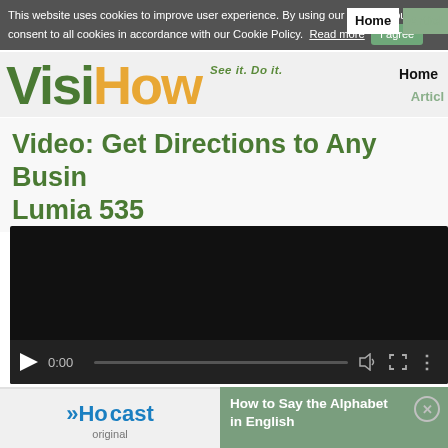This website uses cookies to improve user experience. By using our website you consent to all cookies in accordance with our Cookie Policy. Read more | I agree | Home | Article
[Figure (logo): VisiHow logo with tagline 'See it. Do it.']
Video: Get Directions to Any Business on Lumia 535
[Figure (screenshot): Video player showing 0:00 timestamp with play button, volume, fullscreen, and more controls on dark background]
[Figure (logo): Howcast original logo in blue with arrow icon]
How to Say the Alphabet in English
Article Info
Categories: Nokia